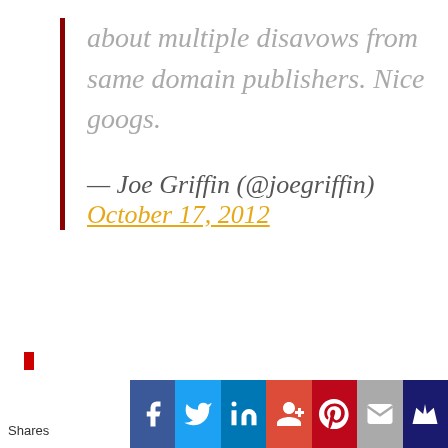about multiple disavows from same domain publishers. Nice googs.
— Joe Griffin (@joegriffin) October 17, 2012
Shares